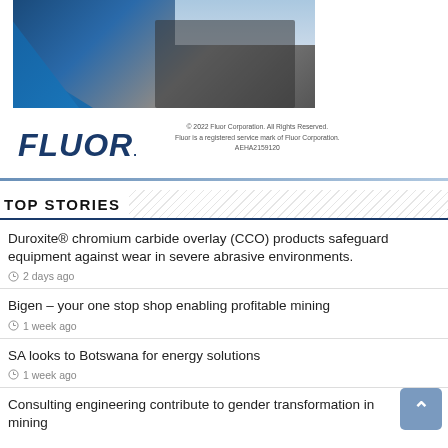[Figure (photo): Mining/engineering scene with blue diagonal overlay and dark landscape photograph]
[Figure (logo): FLUOR corporation logo in dark blue italic bold text with registered trademark symbol]
© 2022 Fluor Corporation. All Rights Reserved. Fluor is a registered service mark of Fluor Corporation. AEHA2159120
TOP STORIES
Duroxite® chromium carbide overlay (CCO) products safeguard equipment against wear in severe abrasive environments.
2 days ago
Bigen – your one stop shop enabling profitable mining
1 week ago
SA looks to Botswana for energy solutions
1 week ago
Consulting engineering contribute to gender transformation in mining